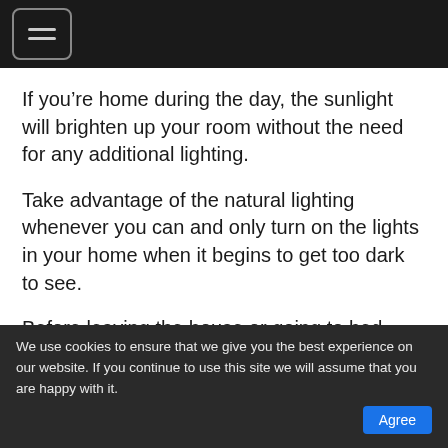[Figure (other): Dark navigation header bar with hamburger menu icon (three horizontal lines in a rounded rectangle border)]
If you’re home during the day, the sunlight will brighten up your room without the need for any additional lighting.
Take advantage of the natural lighting whenever you can and only turn on the lights in your home when it begins to get too dark to see.
Before leaving the house or going to bed, make sure to turn off all lights in your house – including any front porch or back yard lighting.
We use cookies to ensure that we give you the best experience on our website. If you continue to use this site we will assume that you are happy with it. Agree